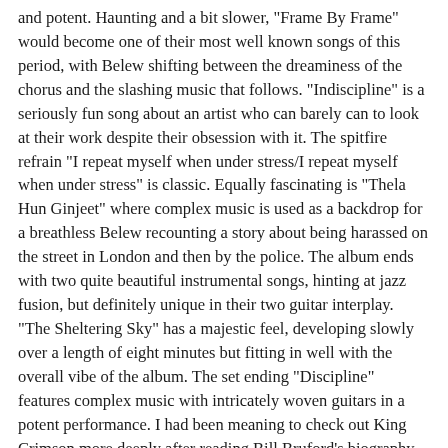and potent. Haunting and a bit slower, "Frame By Frame" would become one of their most well known songs of this period, with Belew shifting between the dreaminess of the chorus and the slashing music that follows. "Indiscipline" is a seriously fun song about an artist who can barely can to look at their work despite their obsession with it. The spitfire refrain "I repeat myself when under stress/I repeat myself when under stress" is classic. Equally fascinating is "Thela Hun Ginjeet" where complex music is used as a backdrop for a breathless Belew recounting a story about being harassed on the street in London and then by the police. The album ends with two quite beautiful instrumental songs, hinting at jazz fusion, but definitely unique in their two guitar interplay. "The Sheltering Sky" has a majestic feel, developing slowly over a length of eight minutes but fitting in well with the overall vibe of the album. The set ending "Discipline" features complex music with intricately woven guitars in a potent performance. I had been meaning to check out King Crimson more deeply after reading Bill Bruford's biography and was really impressed by this album, it draws on a number of different influences and melds them together in a powerful and effective manner. Discipline - amazon.com ›